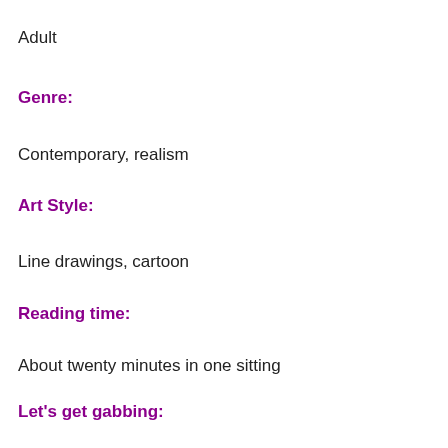Adult
Genre:
Contemporary, realism
Art Style:
Line drawings, cartoon
Reading time:
About twenty minutes in one sitting
Let's get gabbing:
The Park Bench is a longitudinal look at the life and times of a simple park bench, as seen through the eyes of those who use it.